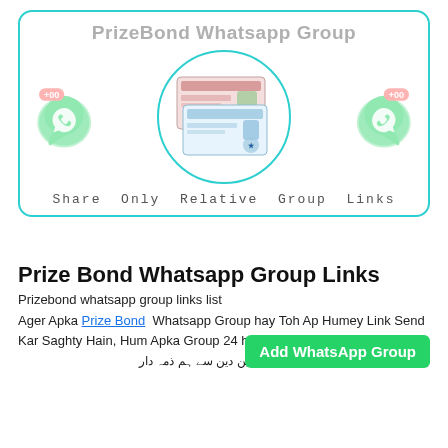[Figure (infographic): PrizeBond Whatsapp Group banner with teal border, bold gray title 'PrizeBond Whatsapp Group', two WhatsApp green phone icons with '+00' badges on left and right, center circle with prize bond images, subtitle 'Share Only Relative Group Links']
Prize Bond Whatsapp Group Links
Prizebond whatsapp group links list
Ager Apka Prize Bond  Whatsapp Group hay Toh Ap Humey Link Send Kar Saghty Hain, Hum Apka Group 24 hours Mein Add Kar Dein Gay
Add WhatsApp Group
توب گروپ مین نسی بھی قسم کی لین دین سے ہم ذمہ دار